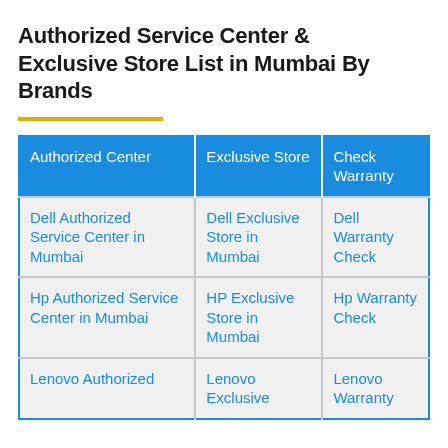Authorized Service Center & Exclusive Store List in Mumbai By Brands
| Authorized Center | Exclusive Store | Check Warranty |
| --- | --- | --- |
| Dell Authorized Service Center in Mumbai | Dell Exclusive Store in Mumbai | Dell Warranty Check |
| Hp Authorized Service Center in Mumbai | HP Exclusive Store in Mumbai | Hp Warranty Check |
| Lenovo Authorized | Lenovo Exclusive | Lenovo Warranty |